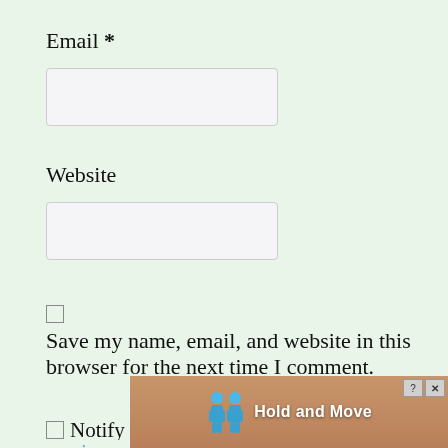Email *
[Figure (other): Empty text input field for Email]
Website
[Figure (other): Empty text input field for Website]
Save my name, email, and website in this browser for the next time I comment.
Notify me of follow-up comments by email.
[Figure (screenshot): Ad banner showing Hold and Move app with two blue figures and close/help buttons]